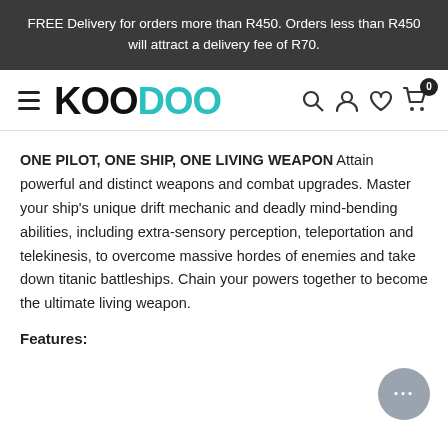FREE Delivery for orders more than R450. Orders less than R450 will attract a delivery fee of R70.
[Figure (logo): KOODOO logo with hamburger menu icon on left and search, user, heart, cart icons on right]
ONE PILOT, ONE SHIP, ONE LIVING WEAPON Attain powerful and distinct weapons and combat upgrades. Master your ship's unique drift mechanic and deadly mind-bending abilities, including extra-sensory perception, teleportation and telekinesis, to overcome massive hordes of enemies and take down titanic battleships. Chain your powers together to become the ultimate living weapon.
Features: